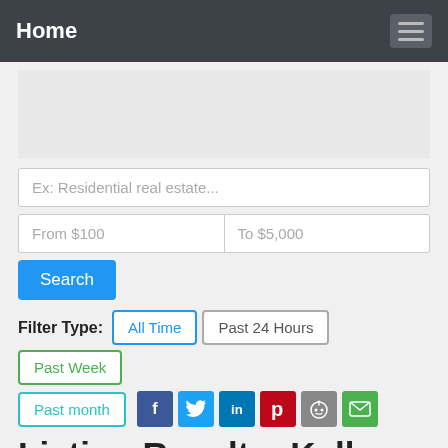Home
Ex: Residential real estate...
From $100   To $5,000
Search
Filter Type: All Time  Past 24 Hours  Past Week  Past month
[Figure (other): Social sharing icons: Facebook, Twitter, LinkedIn, Pinterest, Reddit, Email]
Listing Results: Keller williams realty real estate